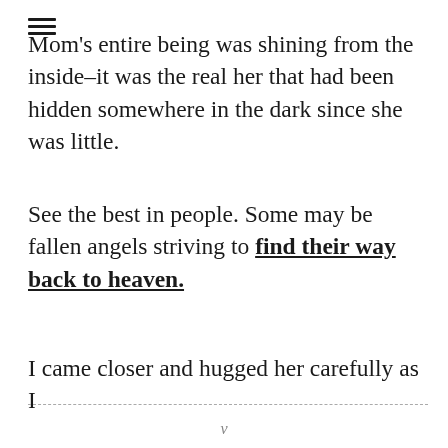Mom's entire being was shining from the inside–it was the real her that had been hidden somewhere in the dark since she was little.
See the best in people. Some may be fallen angels striving to find their way back to heaven.
I came closer and hugged her carefully as I